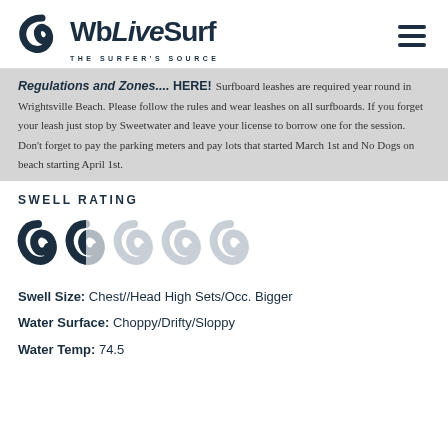WbLiveSurf — THE SURFER'S SOURCE
Regulations and Zones.... HERE! Surfboard leashes are required year round in Wrightsville Beach. Please follow the rules and wear leashes on all surfboards. If you forget your leash just stop by Sweetwater and leave your license to borrow one for the session. Don't forget to pay the parking meters and pay lots that started March 1st and No Dogs on beach starting April 1st.
SWELL RATING
[Figure (infographic): Five wave/swirl icons representing swell rating; first two filled dark, last three are light/empty]
Swell Size: Chest//Head High Sets/Occ. Bigger
Water Surface: Choppy/Drifty/Sloppy
Water Temp: 74.5